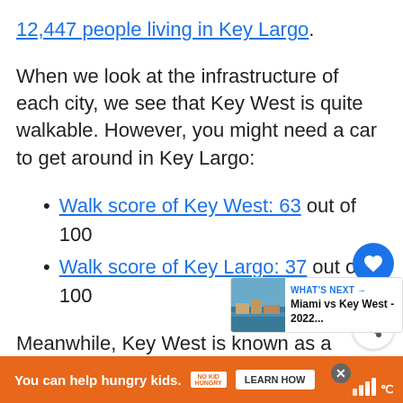12,447 people living in Key Largo.
When we look at the infrastructure of each city, we see that Key West is quite walkable. However, you might need a car to get around in Key Largo:
Walk score of Key West: 63 out of 100
Walk score of Key Largo: 37 out of 100
Meanwhile, Key West is known as a haven for bikers, with a lot of bike lanes and only paths throughout the city and parks. It is also possible to bike around Key Largo,
[Figure (screenshot): What's Next card showing Miami vs Key West - 2022... with a thumbnail image of a waterfront]
[Figure (other): Advertisement bar: You can help hungry kids. No Kid Hungry. Learn How.]